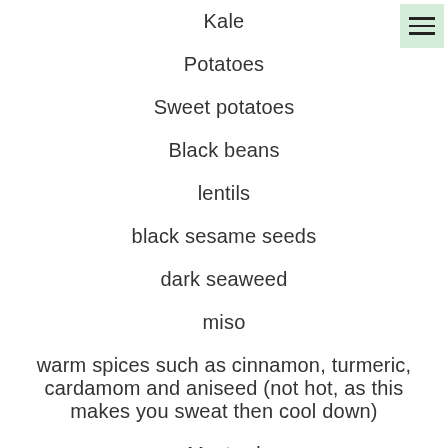Kale
Potatoes
Sweet potatoes
Black beans
lentils
black sesame seeds
dark seaweed
miso
warm spices such as cinnamon, turmeric, cardamom and aniseed (not hot, as this makes you sweat then cool down)
Mustard
Fresh Ginger